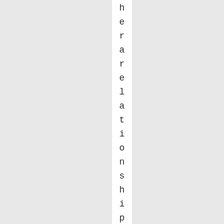here are a relationship. However, YMMV